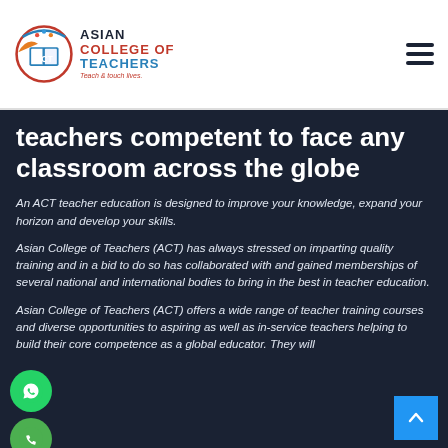Asian College of Teachers — Teach & touch lives.
teachers competent to face any classroom across the globe
An ACT teacher education is designed to improve your knowledge, expand your horizon and develop your skills.
Asian College of Teachers (ACT) has always stressed on imparting quality training and in a bid to do so has collaborated with and gained memberships of several national and international bodies to bring in the best in teacher education.
Asian College of Teachers (ACT) offers a wide range of teacher training courses and diverse opportunities to aspiring as well as in-service teachers helping to build their core competence as a global educator. They will